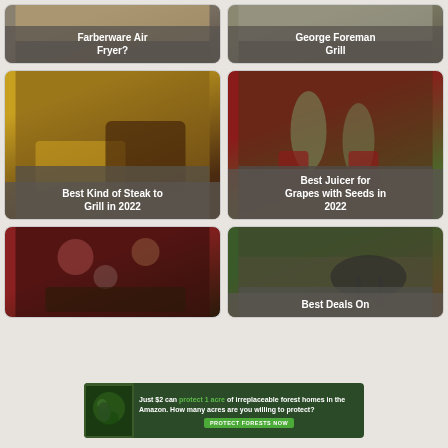[Figure (photo): Farberware Air Fryer product card with food image]
[Figure (photo): George Foreman Grill product card with grill image]
[Figure (photo): Best Kind of Steak to Grill in 2022 card with steak and fries image]
[Figure (photo): Best Juicer for Grapes with Seeds in 2022 card with grape juice image]
[Figure (photo): Partial card with party/food image, no visible label]
[Figure (photo): Best Deals On card with grill image]
[Figure (photo): Advertisement banner: Just $2 can protect 1 acre of irreplaceable forest homes in the Amazon. How many acres are you willing to protect? PROTECT FORESTS NOW]